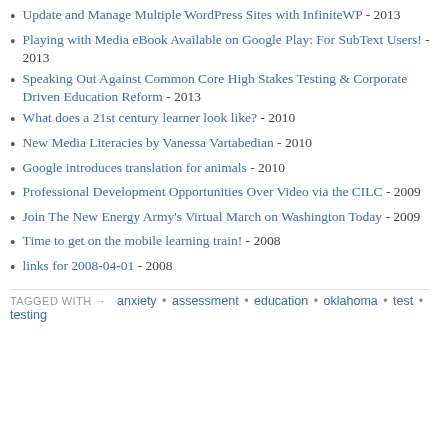Update and Manage Multiple WordPress Sites with InfiniteWP - 2013
Playing with Media eBook Available on Google Play: For SubText Users! - 2013
Speaking Out Against Common Core High Stakes Testing & Corporate Driven Education Reform - 2013
What does a 21st century learner look like? - 2010
New Media Literacies by Vanessa Vartabedian - 2010
Google introduces translation for animals - 2010
Professional Development Opportunities Over Video via the CILC - 2009
Join The New Energy Army's Virtual March on Washington Today - 2009
Time to get on the mobile learning train! - 2008
links for 2008-04-01 - 2008
TAGGED WITH → anxiety • assessment • education • oklahoma • test • testing